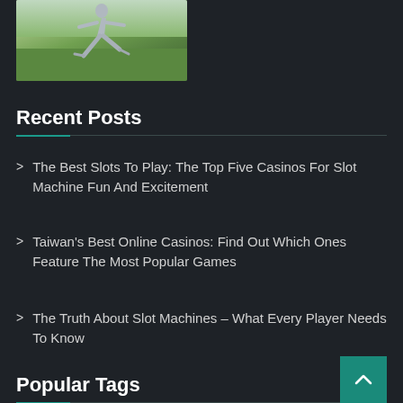[Figure (photo): Partial photo of a person doing a yoga or exercise pose outdoors on green grass with trees in the background]
Recent Posts
The Best Slots To Play: The Top Five Casinos For Slot Machine Fun And Excitement
Taiwan's Best Online Casinos: Find Out Which Ones Feature The Most Popular Games
The Truth About Slot Machines – What Every Player Needs To Know
Popular Tags